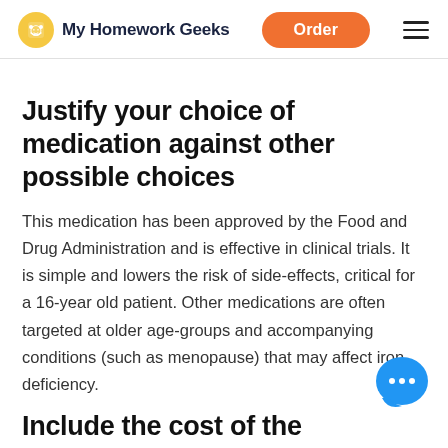My Homework Geeks | Order
Justify your choice of medication against other possible choices
This medication has been approved by the Food and Drug Administration and is effective in clinical trials. It is simple and lowers the risk of side-effects, critical for a 16-year old patient. Other medications are often targeted at older age-groups and accompanying conditions (such as menopause) that may affect iron-deficiency.
Include the cost of the